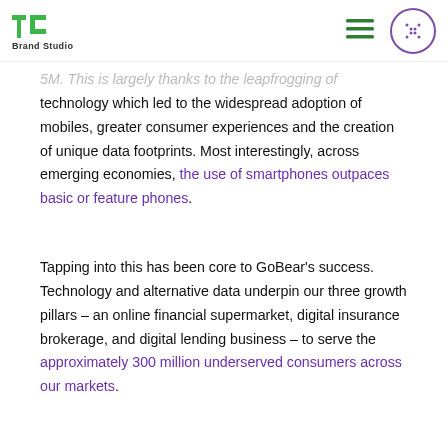TechCrunch Brand Studio
5M. This is largely thanks to the leapfrogging of technology which led to the widespread adoption of mobiles, greater consumer experiences and the creation of unique data footprints. Most interestingly, across emerging economies, the use of smartphones outpaces basic or feature phones.
Tapping into this has been core to GoBear’s success. Technology and alternative data underpin our three growth pillars – an online financial supermarket, digital insurance brokerage, and digital lending business – to serve the approximately 300 million underserved consumers across our markets.